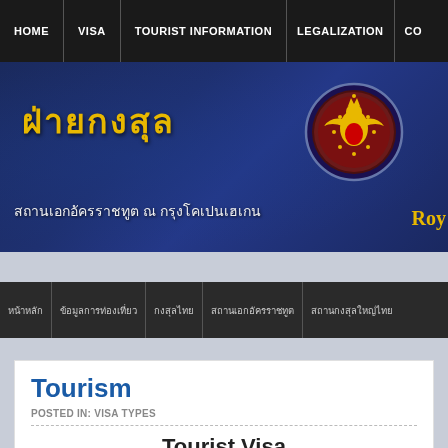HOME | VISA | TOURIST INFORMATION | LEGALIZATION | CO...
[Figure (screenshot): Thai Royal Embassy banner with Thai text 'ฝ่ายกงสุล' (Consular Section) in gold, subtitle 'สถานเอกอัครราชทูต ณ กรุงโคเปนเฮเกน' in white, Royal Thai Embassy emblem on right, and 'Roy' text partially visible.]
หน้าหลัก | ข้อมูลการท่องเที่ยว | กงสุลไทย | สถานเอกอัครราชทูต | สถานกงสุลใหญ่ไทย
Tourism
POSTED IN: VISA TYPES
Tourist Visa
With tourist visa, travellers are strictly prohibited of work including volunteer work and